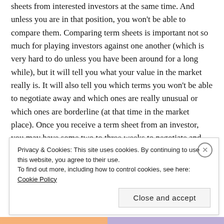sheets from interested investors at the same time. And unless you are in that position, you won't be able to compare them. Comparing term sheets is important not so much for playing investors against one another (which is very hard to do unless you have been around for a long while), but it will tell you what your value in the market really is. It will also tell you which terms you won't be able to negotiate away and which ones are really unusual or which ones are borderline (at that time in the market place). Once you receive a term sheet from an investor, you may have some two to three weeks to negotiate and decide whether to sign it or not. If you stagger your approach of VCs over several weeks or months, you are
Privacy & Cookies: This site uses cookies. By continuing to use this website, you agree to their use. To find out more, including how to control cookies, see here: Cookie Policy